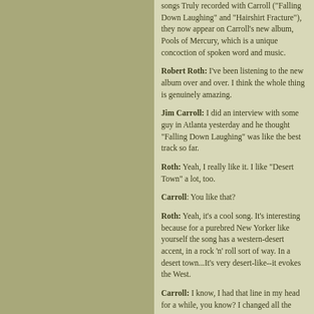songs Truly recorded with Carroll ("Falling Down Laughing" and "Hairshirt Fracture"), they now appear on Carroll's new album, Pools of Mercury, which is a unique concoction of spoken word and music.
Robert Roth: I've been listening to the new album over and over. I think the whole thing is genuinely amazing.
Jim Carroll: I did an interview with some guy in Atlanta yesterday and he thought "Falling Down Laughing" was like the best track so far.
Roth: Yeah, I really like it. I like "Desert Town" a lot, too.
Carroll: You like that?
Roth: Yeah, it's a cool song. It's interesting because for a purebred New Yorker like yourself the song has a western-desert accent, in a rock 'n' roll sort of way. In a desert town...It's very desert-like--it evokes the West.
Carroll: I know, I had that line in my head for a while, you know? I changed all the